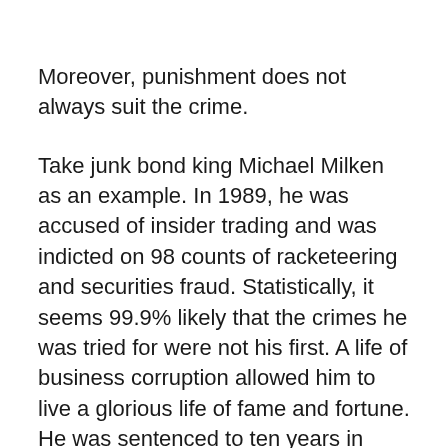Moreover, punishment does not always suit the crime.
Take junk bond king Michael Milken as an example. In 1989, he was accused of insider trading and was indicted on 98 counts of racketeering and securities fraud. Statistically, it seems 99.9% likely that the crimes he was tried for were not his first. A life of business corruption allowed him to live a glorious life of fame and fortune. He was sentenced to ten years in prison, but was released after less than two years.